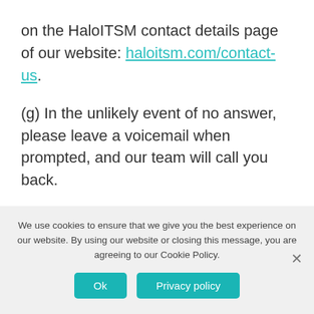on the HaloITSM contact details page of our website: haloitsm.com/contact-us.
(g) In the unlikely event of no answer, please leave a voicemail when prompted, and our team will call you back.
(h) To track progress on a ticket, please ensure to update via the web portal, or e-mail with the original ticket number in the subject line as detailed in the Acknowledgement e-mail. Creating
We use cookies to ensure that we give you the best experience on our website. By using our website or closing this message, you are agreeing to our Cookie Policy.